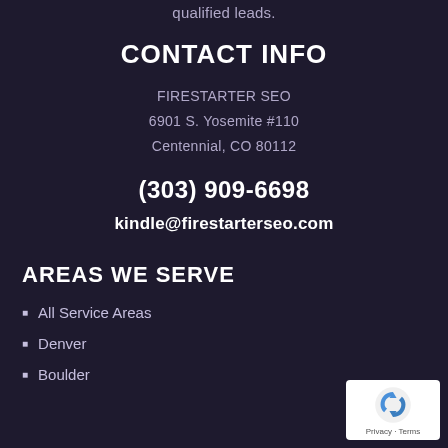qualified leads.
CONTACT INFO
FIRESTARTER SEO
6901 S. Yosemite #110
Centennial, CO 80112
(303) 909-6698
kindle@firestarterseo.com
AREAS WE SERVE
All Service Areas
Denver
Boulder
[Figure (logo): reCAPTCHA badge with Privacy and Terms links]